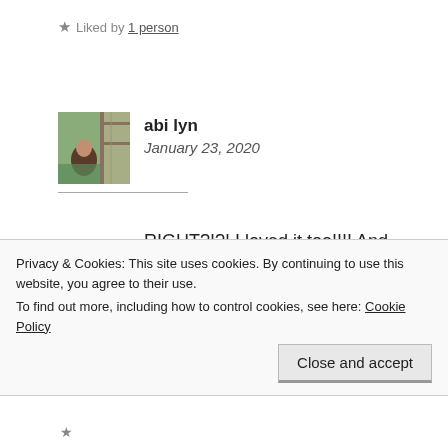★ Liked by 1 person
abi lyn
January 23, 2020
RIGHT?!?! I loved it too!!!! And thanks! I'm glad you liked it!!! 😀 I always like to hear that!! I'm so glad to have found your blog as well!!!! ❤
Privacy & Cookies: This site uses cookies. By continuing to use this website, you agree to their use.
To find out more, including how to control cookies, see here: Cookie Policy
Close and accept